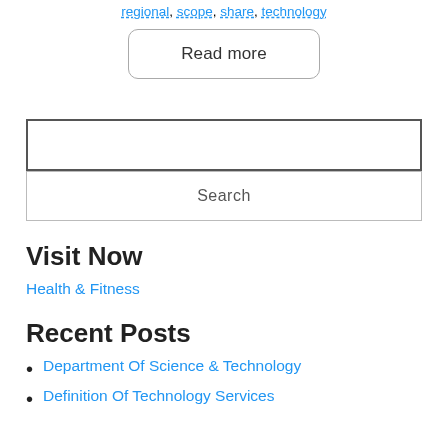regional, scope, share, technology
Read more
Search input field
Search
Visit Now
Health & Fitness
Recent Posts
Department Of Science & Technology
Definition Of Technology Services